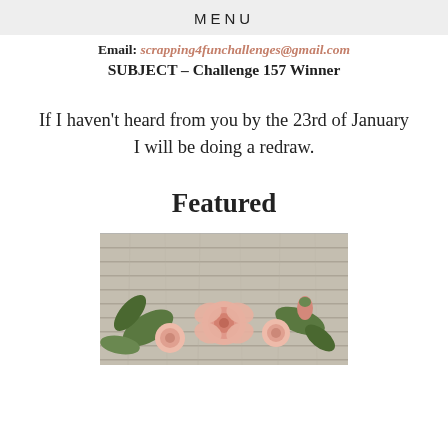MENU
Email: scrapping4funchallenges@gmail.com
SUBJECT – Challenge 157 Winner
If I haven't heard from you by the 23rd of January
I will be doing a redraw.
Featured
[Figure (photo): A decorative photo showing pink roses and green leaves arranged against a grey weathered wood plank background.]